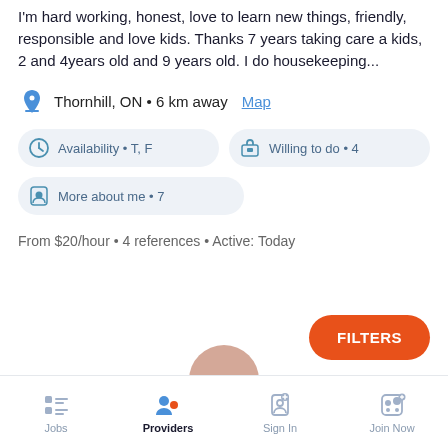I'm hard working, honest, love to learn new things, friendly, responsible and love kids. Thanks 7 years taking care a kids, 2 and 4years old and 9 years old. I do housekeeping...
Thornhill, ON • 6 km away Map
Availability • T, F
Willing to do • 4
More about me • 7
From $20/hour • 4 references • Active: Today
FILTERS
Jobs | Providers | Sign In | Join Now